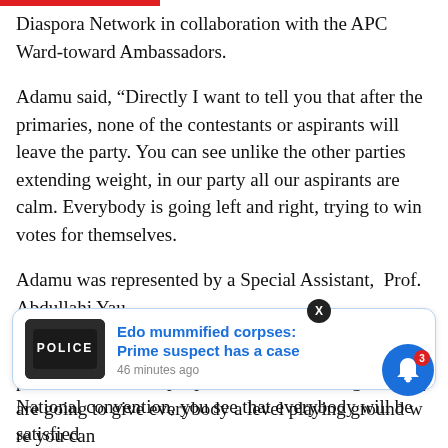Diaspora Network in collaboration with the APC Ward-toward Ambassadors.
Adamu said, “Directly I want to tell you that after the primaries, none of the contestants or aspirants will leave the party. You can see unlike the other parties extending weight, in our party all our aspirants are calm. Everybody is going left and right, trying to win votes for themselves.
Adamu was represented by a Special Assistant,  Prof. Abdullahi Yau,.
He added, “I can assure you this is the most interesting part; the number of people that are contesting and they are going to give everybody a level playing ground where you can
[Figure (screenshot): Notification popup overlay with a police vest image on the left and blue link text 'Edo mummified corpses: Prime suspect has a case' with timestamp '46 minutes ago']
National convention, you see that everybody will be satisfied